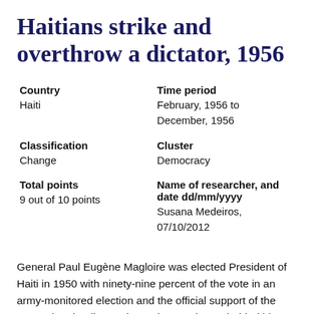Haitians strike and overthrow a dictator, 1956
Country
Haiti
Time period
February, 1956 to December, 1956
Classification
Change
Cluster
Democracy
Total points
9 out of 10 points
Name of researcher, and date dd/mm/yyyy
Susana Medeiros, 07/10/2012
General Paul Eugène Magloire was elected President of Haiti in 1950 with ninety-nine percent of the vote in an army-monitored election and the official support of the army, church, elite, and American embassy behind him. He implemented a successful economic program and oversaw a period of the best economic growth in Haiti in a century, reforming the